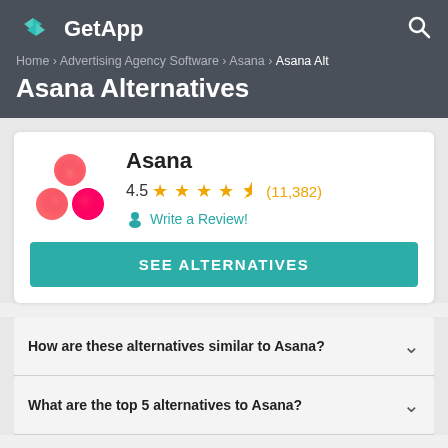GetApp
Home › Advertising Agency Software › Asana › Asana Alt
Asana Alternatives
Asana
4.5 ★★★★½ (11,382)
Write a Review!
SEE ALTERNATIVES
How are these alternatives similar to Asana?
What are the top 5 alternatives to Asana?